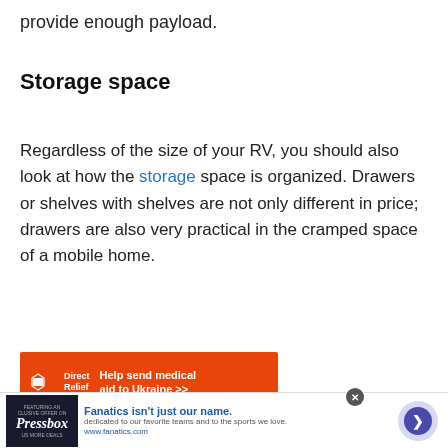provide enough payload.
Storage space
Regardless of the size of your RV, you should also look at how the storage space is organized. Drawers or shelves with shelves are not only different in price; drawers are also very practical in the cramped space of a mobile home.
[Figure (infographic): Direct Relief advertisement banner: orange background with Direct Relief logo and text 'Help send medical aid to Ukraine >>']
[Figure (infographic): Fanatics advertisement banner: dark left panel with Pressbox logo, text 'Fanatics isn't just our name.' with description and URL www.fanatics.com, arrow button on right]